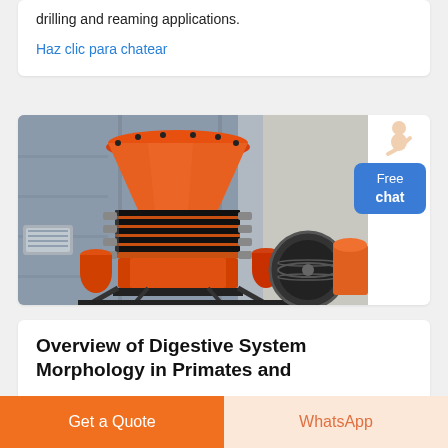drilling and reaming applications.
Haz clic para chatear
[Figure (photo): Large orange industrial cone crusher machine photographed in a factory or outdoor industrial setting. The machine has a prominent orange conical top section, black spring mechanism in the middle, and orange base components with a large flywheel on the right side.]
Overview of Digestive System Morphology in Primates and
Get a Quote
WhatsApp